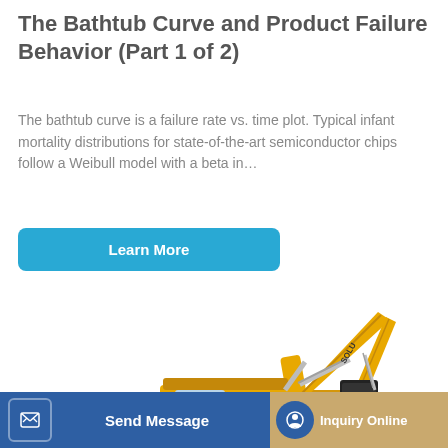The Bathtub Curve and Product Failure Behavior (Part 1 of 2)
The bathtub curve is a failure rate vs. time plot. Typical infant mortality distributions for state-of-the-art semiconductor chips follow a Weibull model with a beta in…
[Figure (other): Blue 'Learn More' button]
[Figure (photo): Yellow heavy excavator / construction machine (SOLU brand) on white background]
Send Message
Inquiry Online